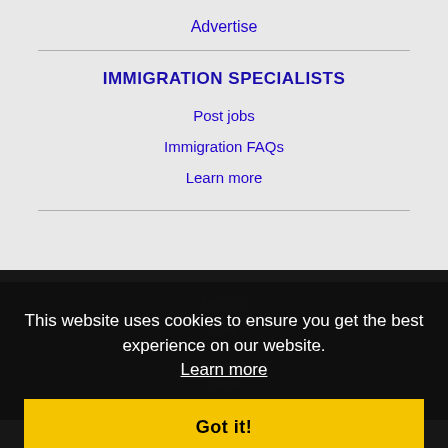Advertise
IMMIGRATION SPECIALISTS
Post jobs
Immigration FAQs
Learn more
MORE
FAQ
Contact us
Sitemap
Legal
Privacy
This website uses cookies to ensure you get the best experience on our website. Learn more
Got it!
NEARBY CITIES